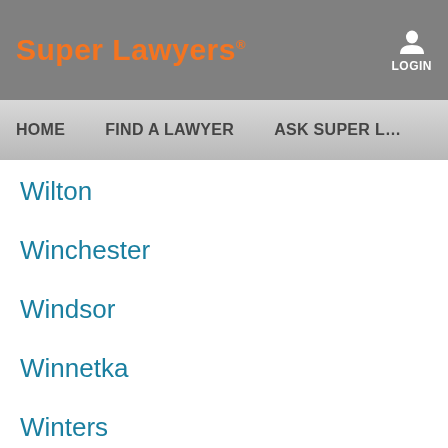Super Lawyers® LOGIN
HOME   FIND A LAWYER   ASK SUPER L…
Wilton
Winchester
Windsor
Winnetka
Winters
Winton
Woodcrest